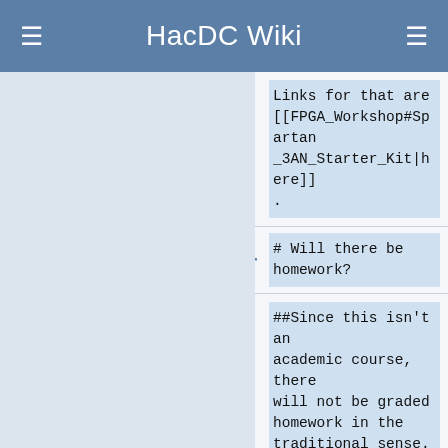HacDC Wiki
Links for that are [[FPGA_Workshop#Spartan_3AN_Starter_Kit|here]].
# Will there be homework?
##Since this isn't an academic course, there will not be graded homework in the traditional sense. I'll be choosing a few additional exercises that people can do outside of the workshop each week, if they wish, that will further help hone their skills.